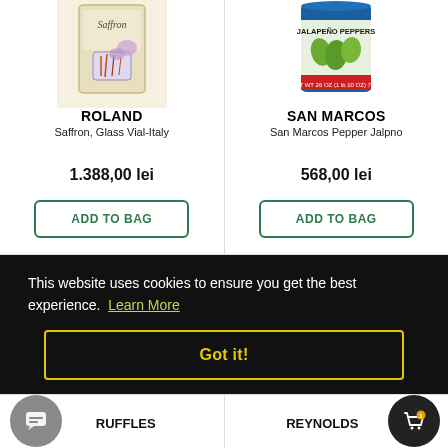[Figure (photo): Product image: Roland Saffron Glass Vial]
ROLAND
Saffron, Glass Vial-Italy
1.388,00 lei
ADD TO BAG
[Figure (photo): Product image: San Marcos Pepper Jalpno can]
SAN MARCOS
San Marcos Pepper Jalpno
568,00 lei
ADD TO BAG
This website uses cookies to ensure you get the best experience. Learn More
Got it!
RUFFLES
REYNOLDS